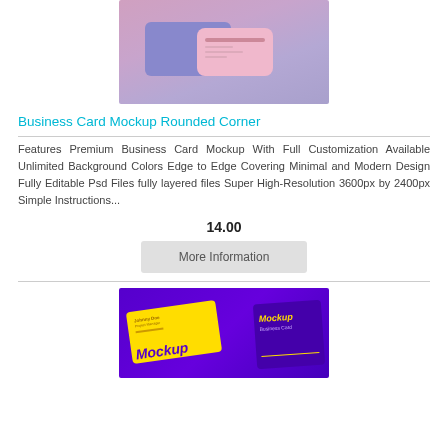[Figure (photo): Business card mockup with rounded corners on pink/purple background showing blue and pink cards]
Business Card Mockup Rounded Corner
Features Premium Business Card Mockup With Full Customization Available Unlimited Background Colors Edge to Edge Covering Minimal and Modern Design Fully Editable Psd Files fully layered files Super High-Resolution 3600px by 2400px Simple Instructions...
14.00
More Information
[Figure (photo): Business card mockup on purple background showing yellow and purple business cards with Mockup text]